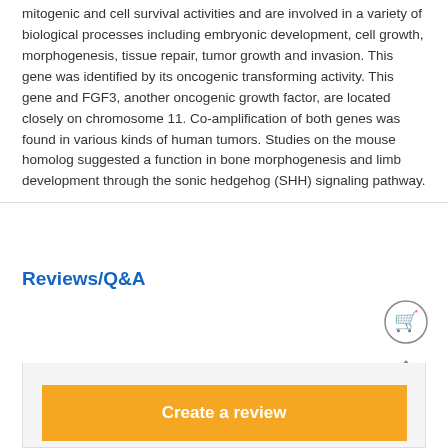mitogenic and cell survival activities and are involved in a variety of biological processes including embryonic development, cell growth, morphogenesis, tissue repair, tumor growth and invasion. This gene was identified by its oncogenic transforming activity. This gene and FGF3, another oncogenic growth factor, are located closely on chromosome 11. Co-amplification of both genes was found in various kinds of human tumors. Studies on the mouse homolog suggested a function in bone morphogenesis and limb development through the sonic hedgehog (SHH) signaling pathway.
Reviews/Q&A
[Figure (other): Tab bar UI with three tabs: 'Show all' (active, blue background), 'Reviews', and 'Q&A']
[Figure (other): Shopping cart icon in a circle]
[Figure (other): Eject/upload triangle icon with line beneath]
[Figure (other): Gray content area with a yellow 'Create a review' button]